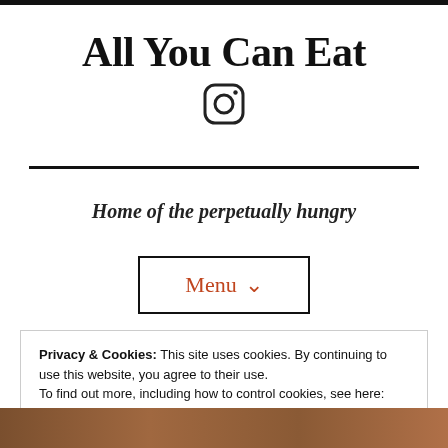All You Can Eat
[Figure (illustration): Instagram logo icon (circle with camera outline and inner circle)]
Home of the perpetually hungry
Menu ˅
Privacy & Cookies: This site uses cookies. By continuing to use this website, you agree to their use.
To find out more, including how to control cookies, see here:
Cookie Policy
Close and accept
[Figure (photo): Partial photo strip at the bottom of the page, showing a warm brown-toned food photo]